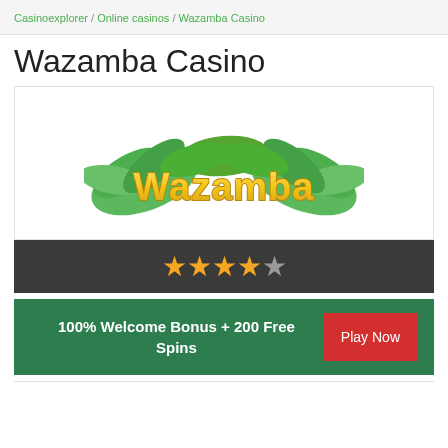Casinoexplorer / Online casinos / Wazamba Casino
Wazamba Casino
[Figure (logo): Wazamba casino logo with stylized yellow text 'Wazamba' surrounded by green tropical leaves]
★★★★☆ (4 out of 5 stars rating)
100% Welcome Bonus + 200 Free Spins
Play Now